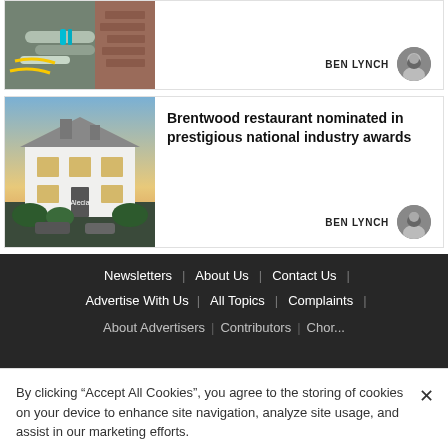[Figure (photo): Industrial pipes and equipment photo (partially visible at top of page)]
BEN LYNCH
[Figure (photo): Exterior photo of a white country house restaurant (Alecia) at dusk]
Brentwood restaurant nominated in prestigious national industry awards
BEN LYNCH
Newsletters | About Us | Contact Us | Advertise With Us | All Topics | Complaints |
By clicking "Accept All Cookies", you agree to the storing of cookies on your device to enhance site navigation, analyze site usage, and assist in our marketing efforts.